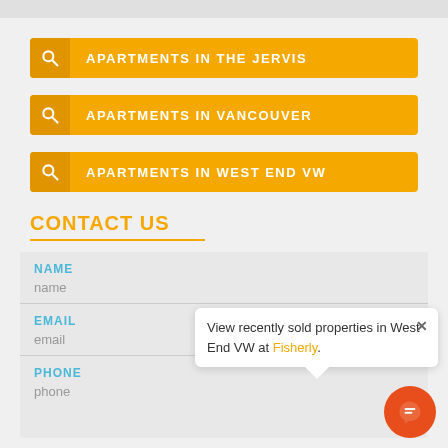APARTMENTS IN THE JERVIS
APARTMENTS IN VANCOUVER
APARTMENTS IN WEST END VW
CONTACT US
NAME
name
EMAIL
email
PHONE
phone
View recently sold properties in West End VW at Fisherly.